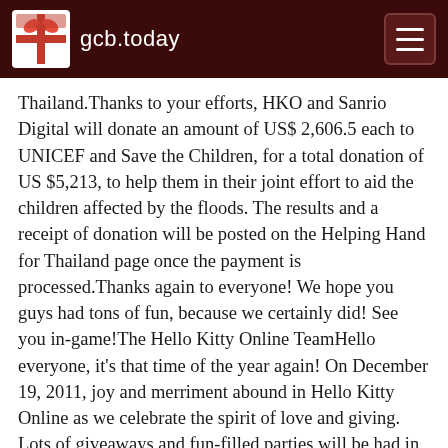gcb.today
Thailand.Thanks to your efforts, HKO and Sanrio Digital will donate an amount of US$ 2,606.5 each to UNICEF and Save the Children, for a total donation of US $5,213, to help them in their joint effort to aid the children affected by the floods. The results and a receipt of donation will be posted on the Helping Hand for Thailand page once the payment is processed.Thanks again to everyone! We hope you guys had tons of fun, because we certainly did! See you in-game!The Hello Kitty Online TeamHello everyone, it's that time of the year again! On December 19, 2011, joy and merriment abound in Hello Kitty Online as we celebrate the spirit of love and giving. Lots of giveaways and fun-filled parties will be had in Hello Kitty's Holiday Blowout! Read on to learn